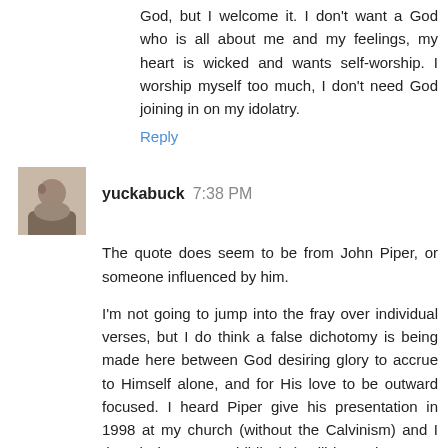God, but I welcome it. I don't want a God who is all about me and my feelings, my heart is wicked and wants self-worship. I worship myself too much, I don't need God joining in on my idolatry.
Reply
yuckabuck 7:38 PM
The quote does seem to be from John Piper, or someone influenced by him.
I'm not going to jump into the fray over individual verses, but I do think a false dichotomy is being made here between God desiring glory to accrue to Himself alone, and for His love to be outward focused. I heard Piper give his presentation in 1998 at my church (without the Calvinism) and I thought it was very biblical. (I still have the tapes, even though I disagree with Piper on soooo much.)
Piper's argument was that God MUST seek His own glory in our lives, as it is the MOST loving thing (towards us) that He can do. God's essential nature (love, outwardly